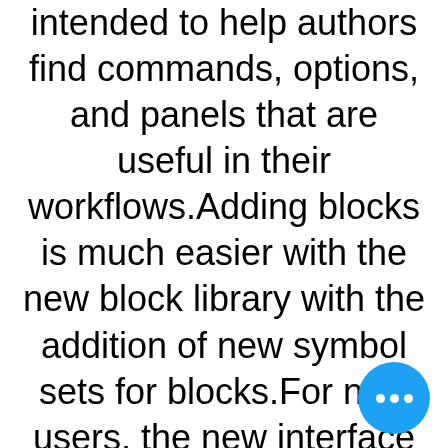intended to help authors find commands, options, and panels that are useful in their workflows.Adding blocks is much easier with the new block library with the addition of new symbol sets for blocks.For new users, the new interface and new 2be273e24d
[Figure (other): Blue circular FAB button with three white dots (ellipsis) in the bottom-right corner]